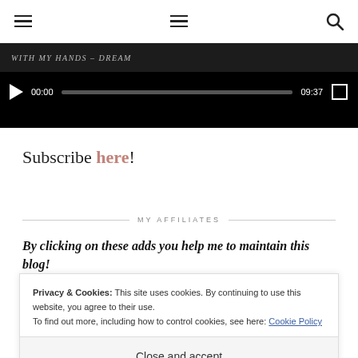Navigation header with hamburger menus and search icon
[Figure (screenshot): Video player with black background, play button, progress bar showing 00:00 / 09:37, and fullscreen button. Top banner reads 'WITH MY HANDS – DREAM']
Subscribe here!
MY AFFILIATES
By clicking on these adds you help me to maintain this blog!
Privacy & Cookies: This site uses cookies. By continuing to use this website, you agree to their use.
To find out more, including how to control cookies, see here: Cookie Policy
Close and accept